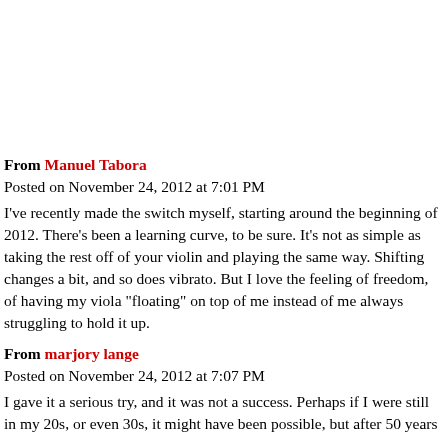From Manuel Tabora
Posted on November 24, 2012 at 7:01 PM
I've recently made the switch myself, starting around the beginning of 2012. There's been a learning curve, to be sure. It's not as simple as taking the rest off of your violin and playing the same way. Shifting changes a bit, and so does vibrato. But I love the feeling of freedom, of having my viola "floating" on top of me instead of me always struggling to hold it up.
From marjory lange
Posted on November 24, 2012 at 7:07 PM
I gave it a serious try, and it was not a success. Perhaps if I were still in my 20s, or even 30s, it might have been possible, but after 50 years